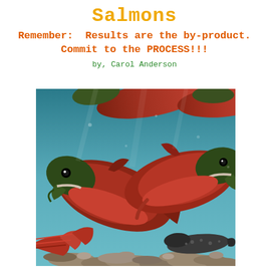Salmons
Remember:  Results are the by-product.
Commit to the PROCESS!!!
by, Carol Anderson
[Figure (photo): Underwater photograph of sockeye salmon swimming in clear blue-green water over a rocky riverbed. Multiple red-bodied, green-headed salmon are visible, with two prominent fish facing each other in the foreground. A dark trout is visible in the background lower right, and a red fish tail is visible in the lower left.]